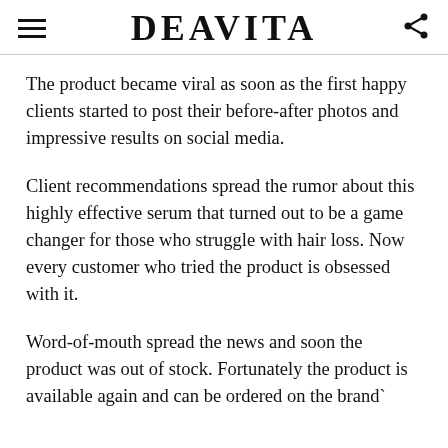DEAVITA
The product became viral as soon as the first happy clients started to post their before-after photos and impressive results on social media.
Client recommendations spread the rumor about this highly effective serum that turned out to be a game changer for those who struggle with hair loss. Now every customer who tried the product is obsessed with it.
Word-of-mouth spread the news and soon the product was out of stock. Fortunately the product is available again and can be ordered on the brand`